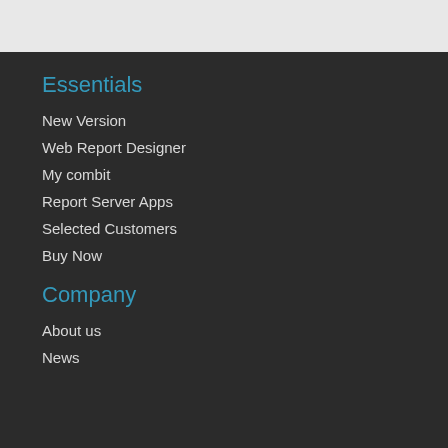Essentials
New Version
Web Report Designer
My combit
Report Server Apps
Selected Customers
Buy Now
Company
About us
News